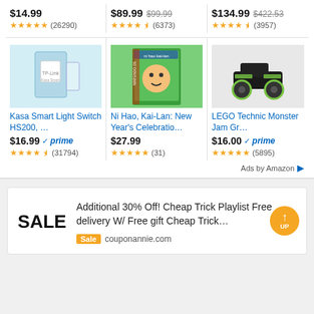$14.99  ★★★★★ (26290)
$89.99  $99.99  ★★★★½ (6373)
$134.99  $422.53  ★★★★½ (3957)
[Figure (photo): Kasa Smart Light Switch HS200 product box]
[Figure (photo): Ni Hao Kai-Lan New Year's Celebration Nintendo DS game cover]
[Figure (photo): LEGO Technic Monster Jam Grave Digger truck set]
Kasa Smart Light Switch HS200, …
Ni Hao, Kai-Lan: New Year's Celebratio…
LEGO Technic Monster Jam Gr…
$16.99 ✓prime  ★★★★½ (31794)
$27.99  ★★★★★ (31)
$16.00 ✓prime  ★★★★★ (5895)
Ads by Amazon
Additional 30% Off! Cheap Trick Playlist Free delivery W/ Free gift Cheap Trick…
SALE
Sale  couponannie.com